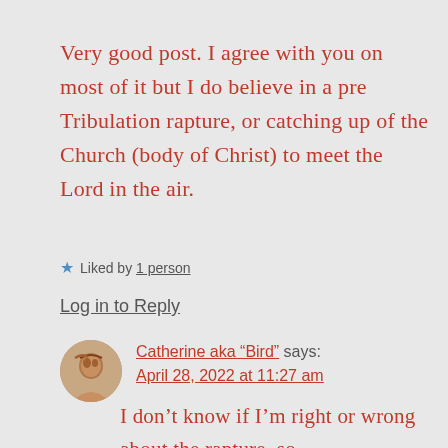Very good post. I agree with you on most of it but I do believe in a pre Tribulation rapture, or catching up of the Church (body of Christ) to meet the Lord in the air.
★ Liked by 1 person
Log in to Reply
Catherine aka “Bird” says: April 28, 2022 at 11:27 am
I don’t know if I’m right or wrong about the rapture, so